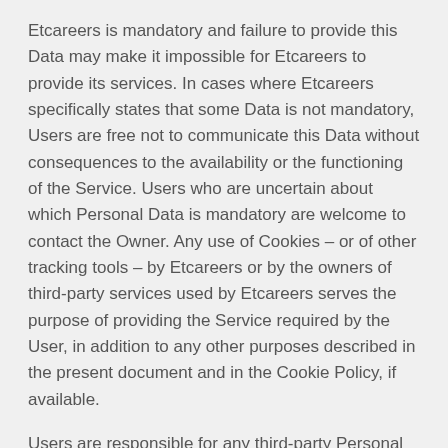Etcareers is mandatory and failure to provide this Data may make it impossible for Etcareers to provide its services. In cases where Etcareers specifically states that some Data is not mandatory, Users are free not to communicate this Data without consequences to the availability or the functioning of the Service. Users who are uncertain about which Personal Data is mandatory are welcome to contact the Owner. Any use of Cookies – or of other tracking tools – by Etcareers or by the owners of third-party services used by Etcareers serves the purpose of providing the Service required by the User, in addition to any other purposes described in the present document and in the Cookie Policy, if available.
Users are responsible for any third-party Personal Data obtained, published or shared through Etcareers and confirm that they have the third party's consent to